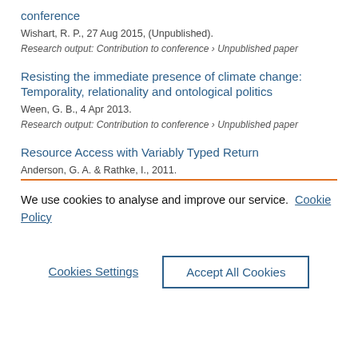conference
Wishart, R. P., 27 Aug 2015, (Unpublished).
Research output: Contribution to conference › Unpublished paper
Resisting the immediate presence of climate change: Temporality, relationality and ontological politics
Ween, G. B., 4 Apr 2013.
Research output: Contribution to conference › Unpublished paper
Resource Access with Variably Typed Return
Anderson, G. A. & Rathke, I., 2011.
We use cookies to analyse and improve our service.  Cookie Policy
Cookies Settings
Accept All Cookies